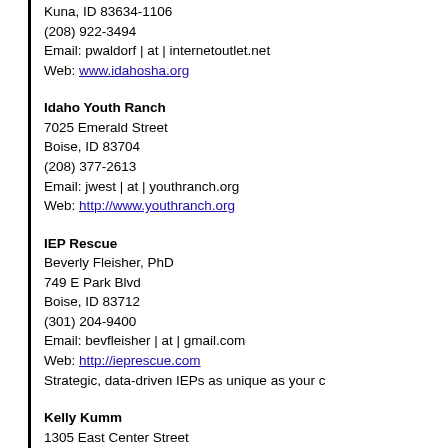Kuna, ID 83634-1106
(208) 922-3494
Email: pwaldorf | at | internetoutlet.net
Web: www.idahosha.org
Idaho Youth Ranch
7025 Emerald Street
Boise, ID 83704
(208) 377-2613
Email: jwest | at | youthranch.org
Web: http://www.youthranch.org
IEP Rescue
Beverly Fleisher, PhD
749 E Park Blvd
Boise, ID 83712
(301) 204-9400
Email: bevfleisher | at | gmail.com
Web: http://ieprescue.com
Strategic, data-driven IEPs as unique as your c
Kelly Kumm
1305 East Center Street
Pocatello, ID 83201
(208) 232-4051; (208) 232-2880 (fax)
Email: kelly | at | krlawfirm.com
Web: http://krlawfirm.com
Experienced education lawyer with emphasis o
Learned Lawyer PLLC